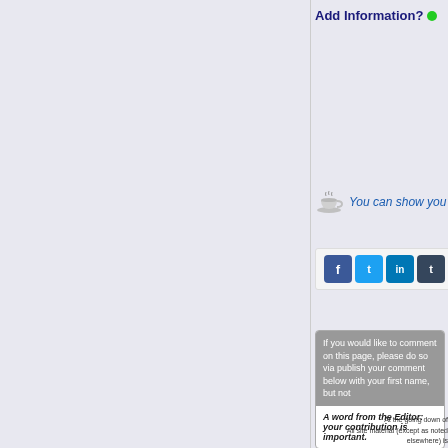Add Information? •
[Figure (illustration): Coffee cup icon with steam]
You can show you value
[Figure (infographic): Social media sharing icons: Facebook, Twitter, LinkedIn, Tumblr, Google+, Reddit, WeChat, WhatsApp, Pinterest, Email]
If you would like to comment on this page, please do so via publish your comment below with your first name, but not
A word from the Editor: your contribution is important.
At the going down of
All site material (except as noted elsewhere) is
© Aircrew